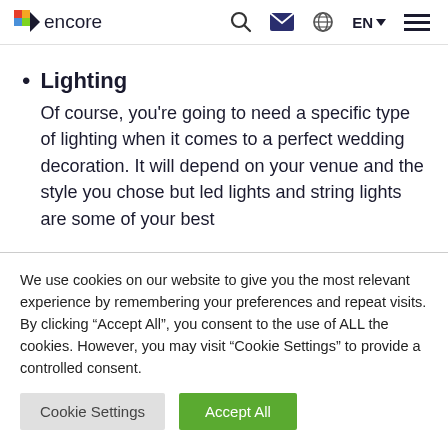encore — EN
Lighting — Of course, you're going to need a specific type of lighting when it comes to a perfect wedding decoration. It will depend on your venue and the style you chose but led lights and string lights are some of your best
We use cookies on our website to give you the most relevant experience by remembering your preferences and repeat visits. By clicking "Accept All", you consent to the use of ALL the cookies. However, you may visit "Cookie Settings" to provide a controlled consent.